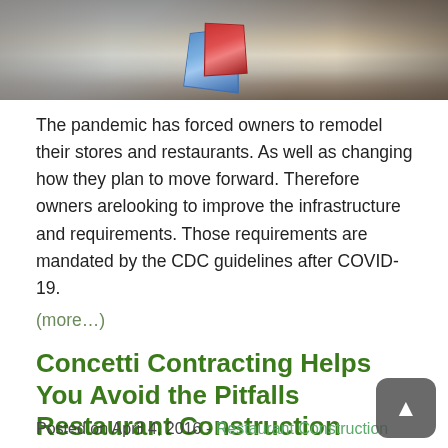[Figure (photo): Photo of an interior space (store or restaurant) showing chairs, flooring, and colorful promotional signs/displays on a surface, viewed from above at an angle.]
The pandemic has forced owners to remodel their stores and restaurants. As well as changing how they plan to move forward. Therefore owners arelooking to improve the infrastructure and requirements. Those requirements are mandated by the CDC guidelines after COVID- 19.
(more...)
Concetti Contracting Helps You Avoid the Pitfalls Restaurant Construction
Posted on April 4, 2016 - Restaurant Construction